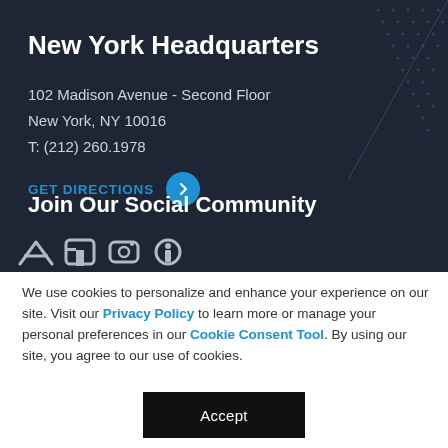New York Headquarters
102 Madison Avenue - Second Floor
New York, NY 10016
T: (212) 260.1978
GET DIRECTIONS
Join Our Social Community
We use cookies to personalize and enhance your experience on our site. Visit our Privacy Policy to learn more or manage your personal preferences in our Cookie Consent Tool. By using our site, you agree to our use of cookies.
Accept